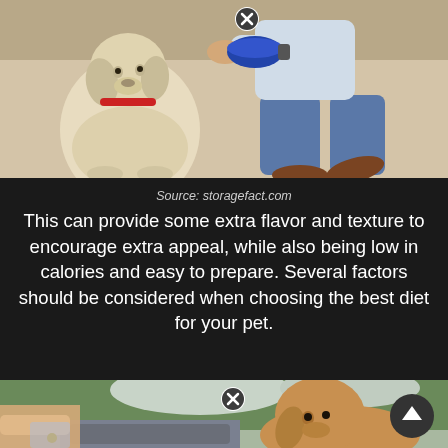[Figure (photo): A person kneeling on carpet offering a blue bowl to a light-colored Labrador dog sitting on carpet indoors.]
Source: storagefact.com
This can provide some extra flavor and texture to encourage extra appeal, while also being low in calories and easy to prepare. Several factors should be considered when choosing the best diet for your pet.
[Figure (photo): A golden Labrador dog outdoors near patio furniture while a person's hand reaches in from the left side of the frame.]